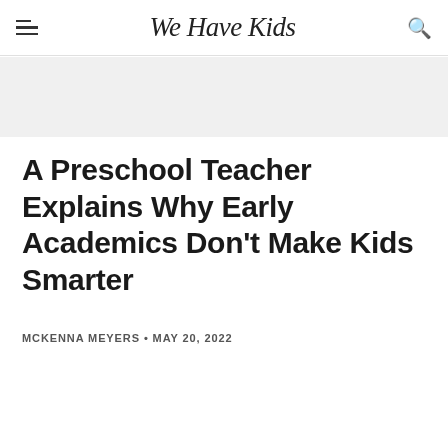We Have Kids
A Preschool Teacher Explains Why Early Academics Don't Make Kids Smarter
MCKENNA MEYERS • MAY 20, 2022